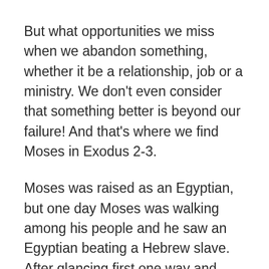But what opportunities we miss when we abandon something, whether it be a relationship, job or a ministry. We don't even consider that something better is beyond our failure! And that's where we find Moses in Exodus 2-3.
Moses was raised as an Egyptian, but one day Moses was walking among his people and he saw an Egyptian beating a Hebrew slave. After glancing first one way and then another to make sure no one was looking, Moses killed the Egyptian and hid him in the sand.